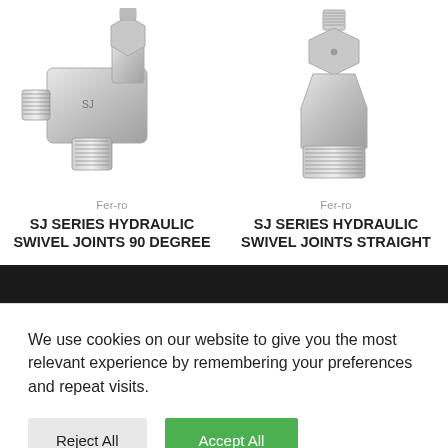[Figure (photo): Stainless steel 90-degree hydraulic swivel joint fitting with threaded male port on top and two female threaded ports on the sides]
[Figure (photo): Stainless steel straight hydraulic swivel joint fitting with male threaded port on top and female threaded port on the bottom]
Fer-ro
SJ SERIES HYDRAULIC SWIVEL JOINTS 90 DEGREE
Fer-ro
SJ SERIES HYDRAULIC SWIVEL JOINTS STRAIGHT
We use cookies on our website to give you the most relevant experience by remembering your preferences and repeat visits.